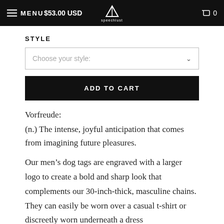MENU  $53.00 USD  speechlust  0
STYLE
Choose your style:
ADD TO CART
Vorfreude:
(n.)  The intense, joyful anticipation that comes from imagining future pleasures.
Our men’s dog tags are engraved with a larger logo to create a bold and sharp look that complements our 30-inch-thick, masculine chains. They can easily be worn over a casual t-shirt or discreetly worn underneath a dress